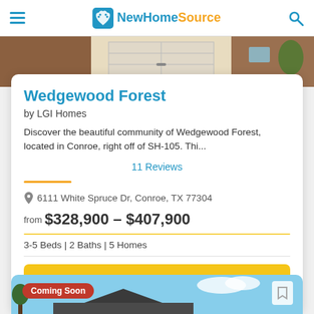NewHomeSource
[Figure (photo): Exterior photo of a home with brick facade and garage door]
Wedgewood Forest
by LGI Homes
Discover the beautiful community of Wedgewood Forest, located in Conroe, right off of SH-105. Thi...
11 Reviews
6111 White Spruce Dr, Conroe, TX 77304
from $328,900 - $407,900
3-5 Beds | 2 Baths | 5 Homes
Get Brochure
[Figure (photo): Coming Soon - house exterior with blue sky background]